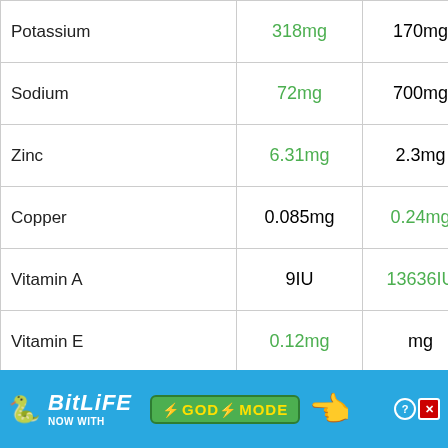| Nutrient | Value 1 | Value 2 | Image |
| --- | --- | --- | --- |
| Potassium | 318mg | 170mg |  |
| Sodium | 72mg | 700mg |  |
| Zinc | 6.31mg | 2.3mg |  |
| Copper | 0.085mg | 0.24mg |  |
| Vitamin A | 9IU | 13636IU |  |
| Vitamin E | 0.12mg | mg |  |
| Vitamin D | 2IU | IU |  |
| Vitamin ... |  |  |  |
[Figure (infographic): BitLife advertisement overlay: 'BitLife NOW WITH GOD MODE' with snake icon and pointing hand graphic]